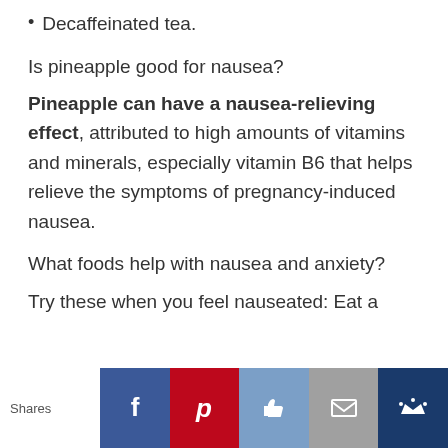Decaffeinated tea.
Is pineapple good for nausea?
Pineapple can have a nausea-relieving effect, attributed to high amounts of vitamins and minerals, especially vitamin B6 that helps relieve the symptoms of pregnancy-induced nausea.
What foods help with nausea and anxiety?
Try these when you feel nauseated: Eat a